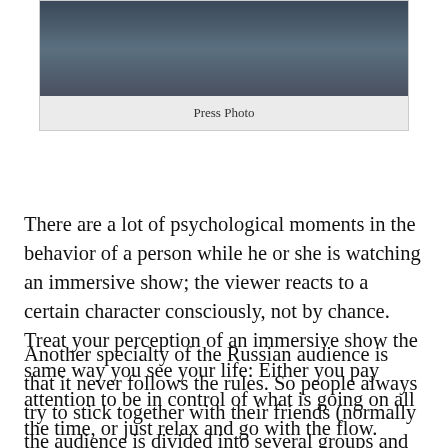[Figure (photo): A dark, blue-tinted press photo showing what appears to be a stage or immersive show setting with furniture and lighting equipment visible.]
Press Photo
There are a lot of psychological moments in the behavior of a person while he or she is watching an immersive show; the viewer reacts to a certain character consciously, not by chance. Treat your perception of an immersive show the same way you see your life: Either you pay attention to be in control of what is going on all the time, or just relax and go with the flow.
Another specialty of the Russian audience is that it never follows the rules. So people always try to stick together with their friends (normally the audience is divided into several groups and each one starts the show on different time). So people